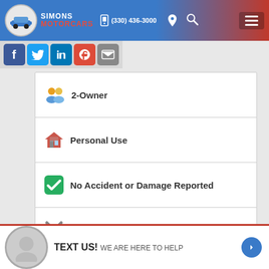Simons Motorcars | (330) 436-3000
2-Owner
Personal Use
No Accident or Damage Reported
3 Service History Records
[Figure (logo): SHOW ME THE CARFAX logo and FAIR VALUE badge]
TEXT US! WE ARE HERE TO HELP